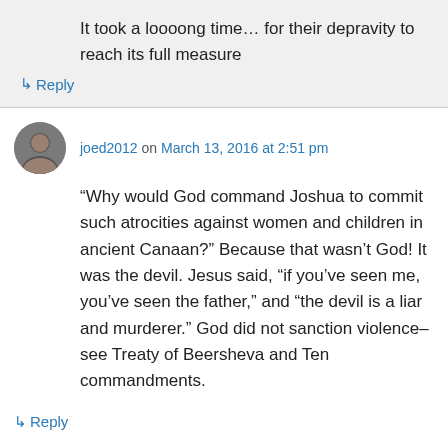It took a loooong time… for their depravity to reach its full measure
↳ Reply
joed2012 on March 13, 2016 at 2:51 pm
“Why would God command Joshua to commit such atrocities against women and children in ancient Canaan?” Because that wasn’t God! It was the devil. Jesus said, “if you’ve seen me, you’ve seen the father,” and “the devil is a liar and murderer.” God did not sanction violence–see Treaty of Beersheva and Ten commandments.
↳ Reply